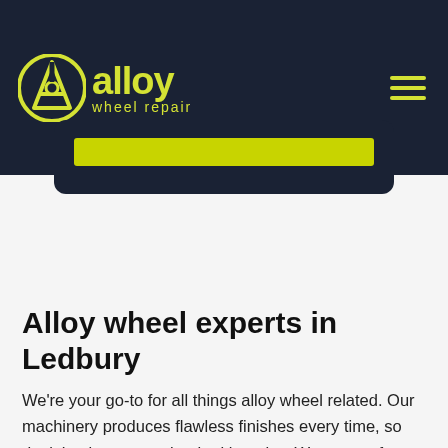[Figure (logo): Alloy Wheel Repair logo with circular A icon in yellow, company name 'alloy' in yellow large text and 'wheel repair' subtitle, on dark navy background. Hamburger menu icon top right.]
[Figure (infographic): Dark navy card with a yellow/chartreuse horizontal bar, representing a search or input field placeholder on the page hero section.]
Alloy wheel experts in Ledbury
We're your go-to for all things alloy wheel related. Our machinery produces flawless finishes every time, so don't hesitate to get booked in today. We can perform simple repairs and complex modifications, just let us know what the issue is and we'll aim to solve it.